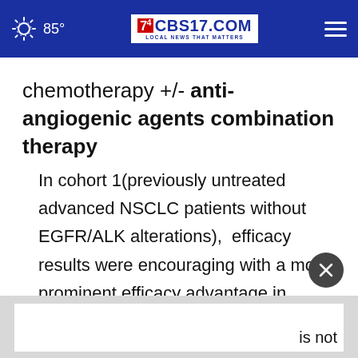85° CBS17.COM LOCAL NEWS THAT MATTERS
chemotherapy +/- anti-angiogenic agents combination therapy
In cohort 1(previously untreated advanced NSCLC patients without EGFR/ALK alterations),  efficacy results were encouraging with a more prominent efficacy advantage in squamous NSCLC patients:
is not